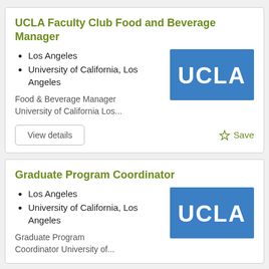UCLA Faculty Club Food and Beverage Manager
Los Angeles
University of California, Los Angeles
Food & Beverage Manager University of California Los...
[Figure (logo): UCLA logo — white text 'UCLA' on blue rectangle background]
View details
Save
Graduate Program Coordinator
Los Angeles
University of California, Los Angeles
Graduate Program Coordinator University of...
[Figure (logo): UCLA logo — white text 'UCLA' on blue rectangle background]